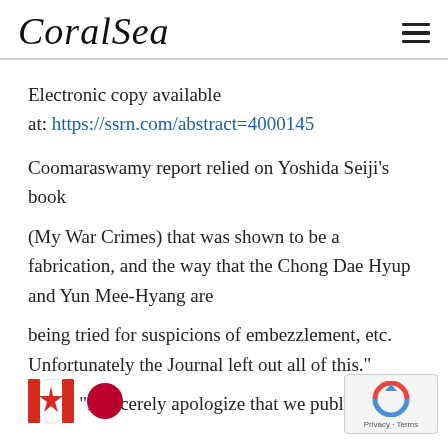CoralSea
Electronic copy available at: https://ssrn.com/abstract=4000145
Coomaraswamy report relied on Yoshida Seiji's book (My War Crimes) that was shown to be a fabrication, and the way that the Chong Dae Hyup and Yun Mee-Hyang are being tried for suspicions of embezzlement, etc. Unfortunately the Journal left out all of this." again: "I sincerely apologize that we published this